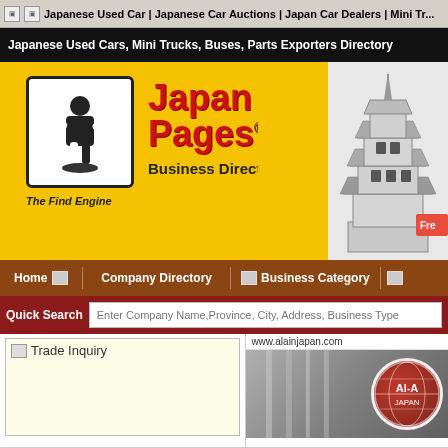Japanese Used Car | Japanese Car Auctions | Japan Car Dealers | Mini Tr...
Japanese Used Cars, Mini Trucks, Buses, Parts Exporters Directory
[Figure (logo): Japan Car Pages logo with pagoda illustration and yellow background. Subtitle: Business Directory for Auto Industry. The Find Engine.]
Home | Company Directory | Business Category
Quick Search  Enter Company Name, Province, City, Address, Business Type
Trade Inquiry
[Figure (photo): www.alainjapan.com - Al-Ain Japan company logo on car image, red globe logo]
[Figure (other): Business Category section icon]
Business Category
New & used vehicle
Company Detail
Company
Address